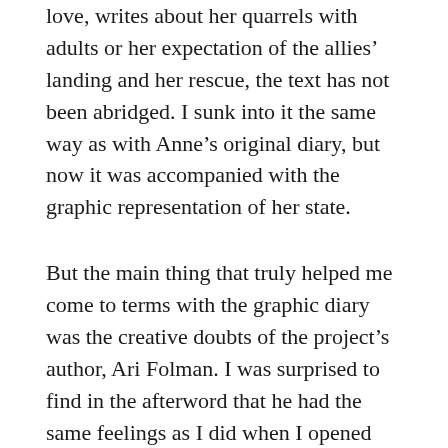love, writes about her quarrels with adults or her expectation of the allies' landing and her rescue, the text has not been abridged. I sunk into it the same way as with Anne's original diary, but now it was accompanied with the graphic representation of her state.
But the main thing that truly helped me come to terms with the graphic diary was the creative doubts of the project's author, Ari Folman. I was surprised to find in the afterword that he had the same feelings as I did when I opened the book for the first time. He also thought it was impossible to make a comic book based on such a powerful book by just illustrating each page of it. It would have taken